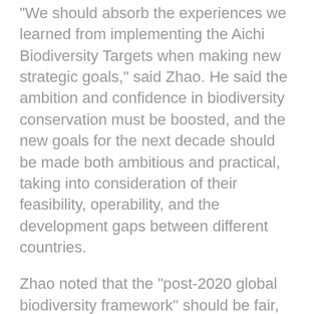“We should absorb the experiences we learned from implementing the Aichi Biodiversity Targets when making new strategic goals,” said Zhao. He said the ambition and confidence in biodiversity conservation must be boosted, and the new goals for the next decade should be made both ambitious and practical, taking into consideration of their feasibility, operability, and the development gaps between different countries.
Zhao noted that the “post-2020 global biodiversity framework” should be fair, transparent, and driven by the contracting parties. The implementation mechanism and supporting conditions must be improved, and technology transfer and capability building enhanced so as to practically enhance the capacity of developing countries to fulfill...